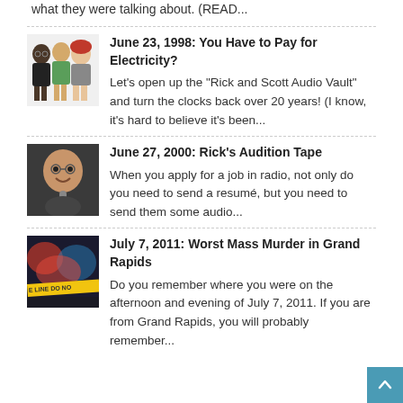what they were talking about. (READ...
[Figure (illustration): Cartoon illustration of three radio show characters]
June 23, 1998: You Have to Pay for Electricity?
Let's open up the "Rick and Scott Audio Vault" and turn the clocks back over 20 years! (I know, it's hard to believe it's been...
[Figure (photo): Photo of a man at a radio microphone]
June 27, 2000: Rick's Audition Tape
When you apply for a job in radio, not only do you need to send a resumé, but you need to send them some audio...
[Figure (photo): Photo of police crime scene tape with red lights in background]
July 7, 2011: Worst Mass Murder in Grand Rapids
Do you remember where you were on the afternoon and evening of July 7, 2011. If you are from Grand Rapids, you will probably remember...